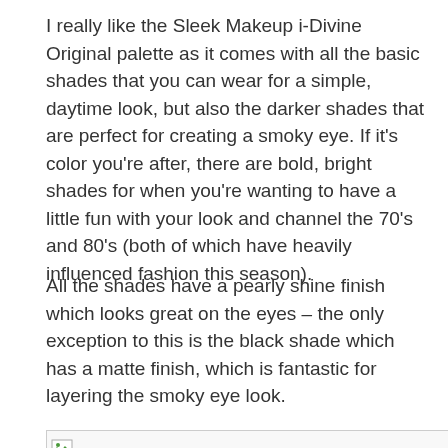I really like the Sleek Makeup i-Divine Original palette as it comes with all the basic shades that you can wear for a simple, daytime look, but also the darker shades that are perfect for creating a smoky eye. If it’s color you’re after, there are bold, bright shades for when you’re wanting to have a little fun with your look and channel the 70’s and 80’s (both of which have heavily influenced fashion this season).
All the shades have a pearly shine finish which looks great on the eyes – the only exception to this is the black shade which has a matte finish, which is fantastic for layering the smoky eye look.
[Figure (photo): Broken image placeholder with small image icon in top-left corner]